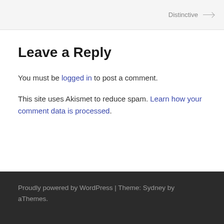Distinctive →
Leave a Reply
You must be logged in to post a comment.
This site uses Akismet to reduce spam. Learn how your comment data is processed.
Proudly powered by WordPress | Theme: Sydney by aThemes.